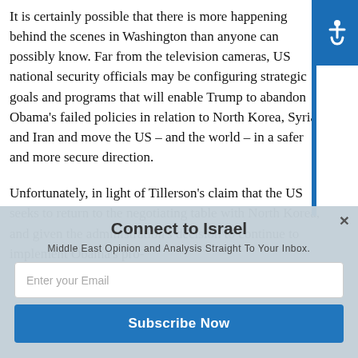It is certainly possible that there is more happening behind the scenes in Washington than anyone can possibly know. Far from the television cameras, US national security officials may be configuring strategic goals and programs that will enable Trump to abandon Obama's failed policies in relation to North Korea, Syria and Iran and move the US – and the world – in a safer and more secure direction.
Unfortunately, in light of Tillerson's claim that the US seeks to return to the negotiating table with North Korea, and given the administration's decision to continue to implement Obama's pro-
Connect to Israel
Middle East Opinion and Analysis Straight To Your Inbox.